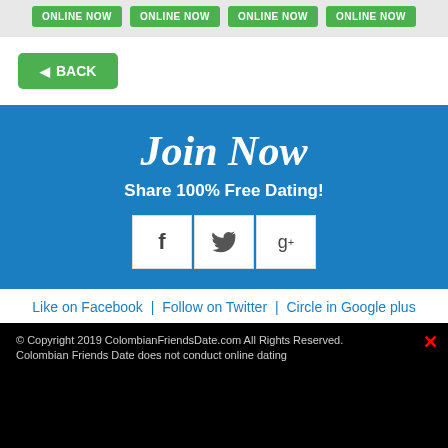[Figure (screenshot): Four green 'ONLINE NOW' buttons in a row on a light gray background]
[Figure (screenshot): Green 'BACK' button with left arrow]
Join Now
Share 100% Free Dating!
[Figure (infographic): Social share icons: Facebook (f), Twitter (bird), Google+ (g+)]
Like on Facebook | Follow on Twitter | Circle in Google plus
© Copyright 2019 ColombianFriendsDate.com All Rights Reserved. Colombian Friends Date does not conduct online dating